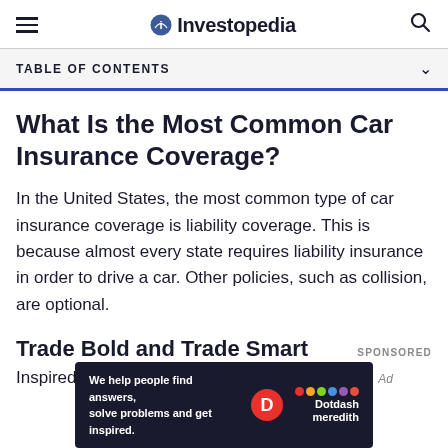Investopedia
TABLE OF CONTENTS
What Is the Most Common Car Insurance Coverage?
In the United States, the most common type of car insurance coverage is liability coverage. This is because almost every state requires liability insurance in order to drive a car. Other policies, such as collision, are optional.
Trade Bold and Trade Smart
Inspired trading starts with a better broker. With
[Figure (logo): Dotdash Meredith banner ad: We help people find answers, solve problems and get inspired.]